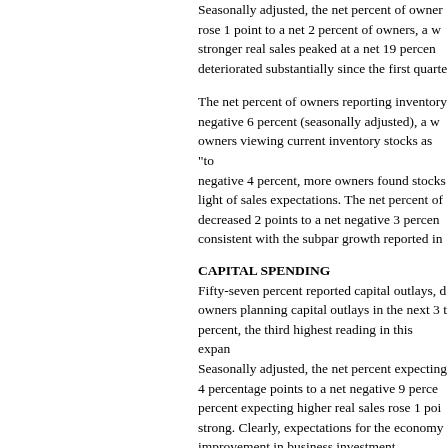Seasonally adjusted, the net percent of owners rose 1 point to a net 2 percent of owners, a w stronger real sales peaked at a net 19 percen deteriorated substantially since the first quarte
The net percent of owners reporting inventory negative 6 percent (seasonally adjusted), a w owners viewing current inventory stocks as "to negative 4 percent, more owners found stocks light of sales expectations. The net percent of decreased 2 points to a net negative 3 percen consistent with the subpar growth reported in
CAPITAL SPENDING
Fifty-seven percent reported capital outlays, d owners planning capital outlays in the next 3 t percent, the third highest reading in this expan Seasonally adjusted, the net percent expecting 4 percentage points to a net negative 9 perce percent expecting higher real sales rose 1 poi strong. Clearly, expectations for the economy improvement in business investment.
INFLATION
Inflationary pressures remain dormant on Mai